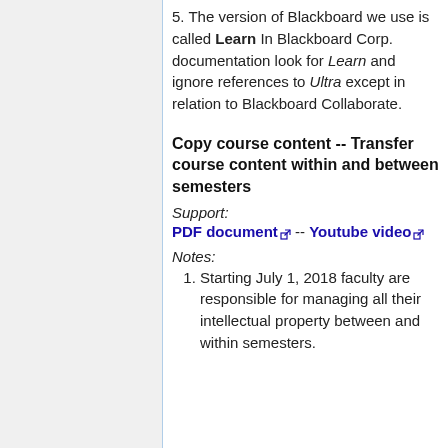5. The version of Blackboard we use is called Learn In Blackboard Corp. documentation look for Learn and ignore references to Ultra except in relation to Blackboard Collaborate.
Copy course content -- Transfer course content within and between semesters
Support:
PDF document -- Youtube video
Notes:
1. Starting July 1, 2018 faculty are responsible for managing all their intellectual property between and within semesters.